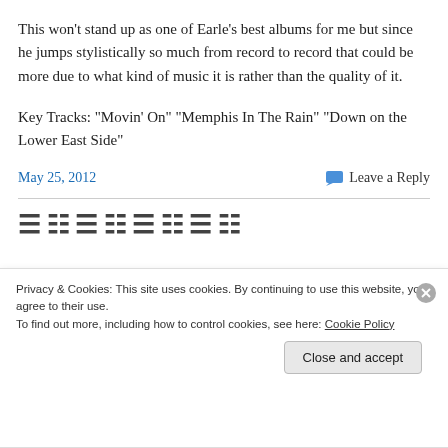This won’t stand up as one of Earle’s best albums for me but since he jumps stylistically so much from record to record that could be more due to what kind of music it is rather than the quality of it.
Key Tracks: “Movin’ On” “Memphis In The Rain” “Down on the Lower East Side”
May 25, 2012
Leave a Reply
Privacy & Cookies: This site uses cookies. By continuing to use this website, you agree to their use.
To find out more, including how to control cookies, see here: Cookie Policy